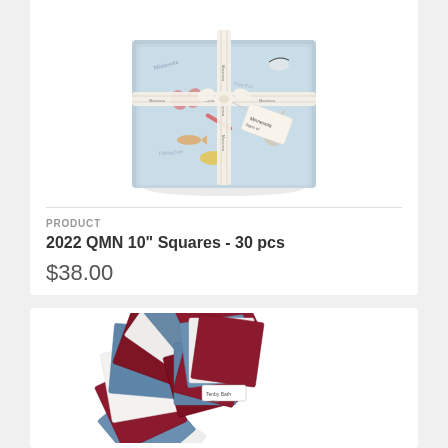[Figure (photo): A bundle of fabric squares with nature/wildlife print on a light blue background, tied with a cream ribbon with a tag, stacked and wrapped neatly.]
PRODUCT
2022 QMN 10" Squares - 30 pcs
$38.00
[Figure (photo): Fabric squares in red/burgundy, blue, and white colors arranged in a fan/pinwheel pattern with a small label in the center.]